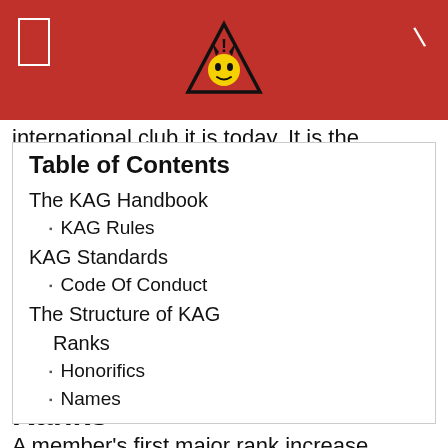KAG Logo Header
international club it is today. It is the camaraderie of a group of friends that spawns the morale that turns a conversation pit into a crew. These informal structures are a vital part of KAG's tradition, avenues of fun and creativity
| Table of Contents |
| --- |
| The KAG Handbook |
| KAG Rules |
| KAG Standards |
| Code Of Conduct |
| The Structure of KAG |
| Ranks |
| Honorifics |
| Names |
Ranks
A member's first major rank increase traditionally comes at the time of completion of his first uniform. Subsequent rank increases are given as recognition of the member's activity level and scope of service to the club. KAG awards promotions for continued active participation and achievement, never solely for length